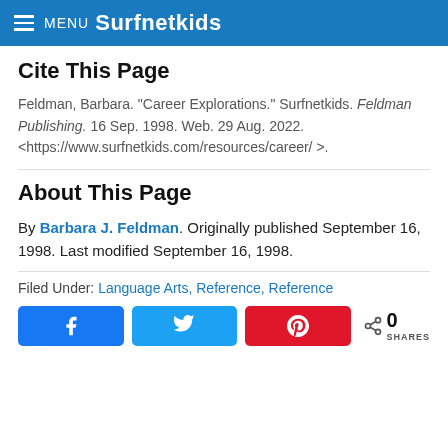MENU Surfnetkids
Cite This Page
Feldman, Barbara. "Career Explorations." Surfnetkids. Feldman Publishing. 16 Sep. 1998. Web. 29 Aug. 2022. <https://www.surfnetkids.com/resources/career/ >.
About This Page
By Barbara J. Feldman. Originally published September 16, 1998. Last modified September 16, 1998.
Filed Under: Language Arts, Reference, Reference
[Figure (other): Social share buttons: Facebook, Twitter, Pinterest, and share count showing 0 SHARES]